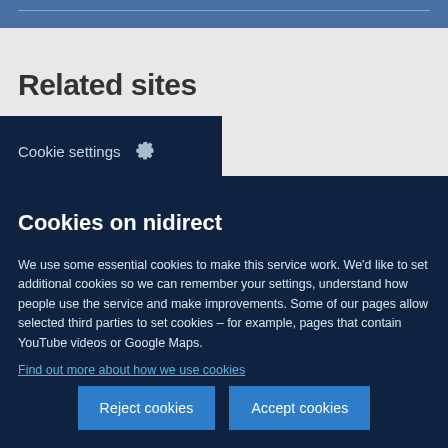Related sites
Cookie settings ⚙
Cookies on nidirect
We use some essential cookies to make this service work. We'd like to set additional cookies so we can remember your settings, understand how people use the service and make improvements. Some of our pages allow selected third parties to set cookies – for example, pages that contain YouTube videos or Google Maps.
Find out more about how we use cookies
Reject cookies
Accept cookies